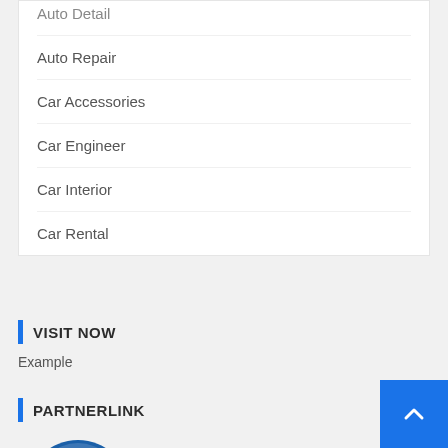Auto Detail
Auto Repair
Car Accessories
Car Engineer
Car Interior
Car Rental
VISIT NOW
Example
PARTNERLINK
[Figure (logo): Intellifluence Trusted Blogger badge]